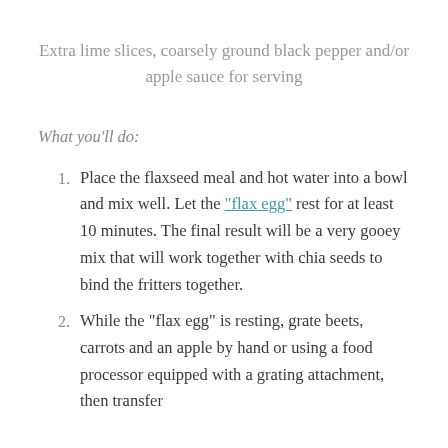Extra lime slices, coarsely ground black pepper and/or apple sauce for serving
What you'll do:
Place the flaxseed meal and hot water into a bowl and mix well. Let the “flax egg” rest for at least 10 minutes. The final result will be a very gooey mix that will work together with chia seeds to bind the fritters together.
While the “flax egg” is resting, grate beets, carrots and an apple by hand or using a food processor equipped with a grating attachment, then transfer